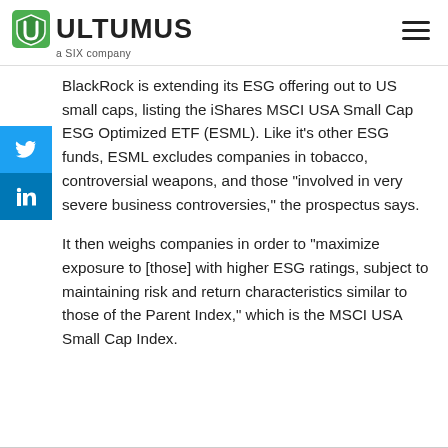ULTUMUS a SIX company
BlackRock is extending its ESG offering out to US small caps, listing the iShares MSCI USA Small Cap ESG Optimized ETF (ESML). Like it's other ESG funds, ESML excludes companies in tobacco, controversial weapons, and those “involved in very severe business controversies,” the prospectus says.
It then weighs companies in order to “maximize exposure to [those] with higher ESG ratings, subject to maintaining risk and return characteristics similar to those of the Parent Index,” which is the MSCI USA Small Cap Index.